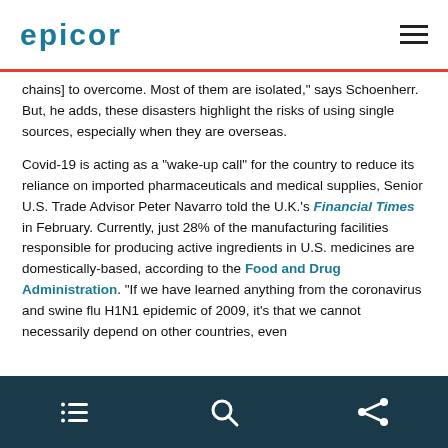EPICOR
chains] to overcome. Most of them are isolated," says Schoenherr. But, he adds, these disasters highlight the risks of using single sources, especially when they are overseas.
Covid-19 is acting as a “wake-up call” for the country to reduce its reliance on imported pharmaceuticals and medical supplies, Senior U.S. Trade Advisor Peter Navarro told the U.K.’s Financial Times in February. Currently, just 28% of the manufacturing facilities responsible for producing active ingredients in U.S. medicines are domestically-based, according to the Food and Drug Administration. “If we have learned anything from the coronavirus and swine flu H1N1 epidemic of 2009, it’s that we cannot necessarily depend on other countries, even